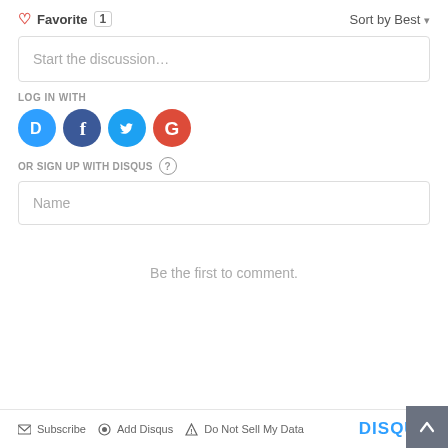♡ Favorite 1
Sort by Best ▾
Start the discussion…
LOG IN WITH
[Figure (illustration): Social login icons: Disqus (blue circle with D), Facebook (dark blue circle with f), Twitter (light blue circle with bird), Google (red circle with G)]
OR SIGN UP WITH DISQUS ?
Name
Be the first to comment.
✉ Subscribe  ⊙ Add Disqus  ⚠ Do Not Sell My Data    DISQUS